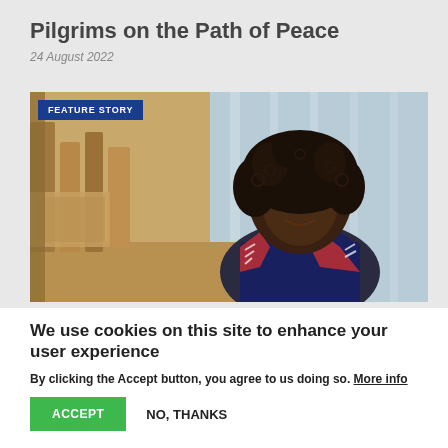Pilgrims on the Path of Peace
24 August 2022
[Figure (photo): A woman with curly hair and glasses smiling in an interior space with wooden architectural elements and large windows. A 'FEATURE STORY' badge appears in the upper left corner of the image.]
We use cookies on this site to enhance your user experience
By clicking the Accept button, you agree to us doing so. More info
ACCEPT
NO, THANKS